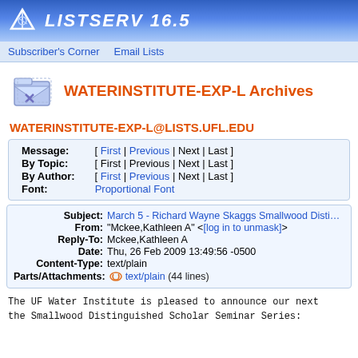LISTSERV 16.5
Subscriber's Corner   Email Lists
WATERINSTITUTE-EXP-L Archives
WATERINSTITUTE-EXP-L@LISTS.UFL.EDU
| Label | Links |
| --- | --- |
| Message: | [ First | Previous | Next | Last ] |
| By Topic: | [ First | Previous | Next | Last ] |
| By Author: | [ First | Previous | Next | Last ] |
| Font: | Proportional Font |
| Field | Value |
| --- | --- |
| Subject: | March 5 - Richard Wayne Skaggs Smallwood Distin... |
| From: | "Mckee,Kathleen A" <[log in to unmask]> |
| Reply-To: | Mckee,Kathleen A |
| Date: | Thu, 26 Feb 2009 13:49:56 -0500 |
| Content-Type: | text/plain |
| Parts/Attachments: | text/plain (44 lines) |
The UF Water Institute is pleased to announce our next the Smallwood Distinguished Scholar Seminar Series: